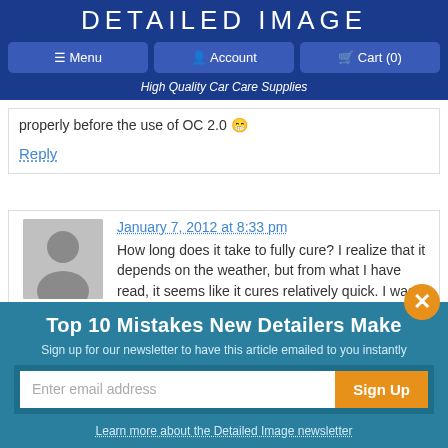DETAILED IMAGE
Menu | Account | Cart (0)
High Quality Car Care Supplies
properly before the use of OC 2.0
Reply
January 7, 2012 at 8:33 pm
Mike says:
How long does it take to fully cure? I realize that it depends on the weather, but from what I have read, it seems like it cures relatively quick. I was discussing steps that could be taken to get wheels cleaned and
Top 10 Mistakes New Detailers Make
Sign up for our newsletter to have this article emailed to you instantly
Enter email address
Sign Up
Learn more about the Detailed Image newsletter